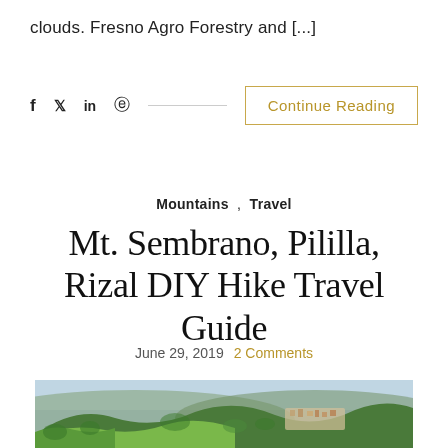clouds. Fresno Agro Forestry and [...]
f  🐦  in  ®  ——————————————  Continue Reading
Mountains , Travel
Mt. Sembrano, Pililla, Rizal DIY Hike Travel Guide
June 29, 2019   2 Comments
[Figure (photo): Aerial view of green mountain hills with a town visible in the background under a hazy blue sky, likely Mt. Sembrano in Pililla, Rizal, Philippines.]